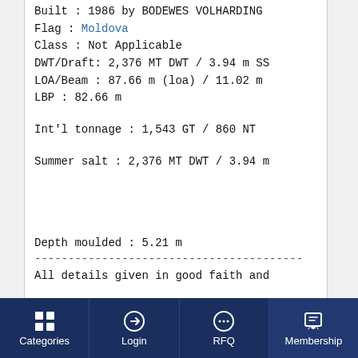Built : 1986 by BODEWES VOLHARDING
Flag : Moldova
Class : Not Applicable
DWT/Draft: 2,376 MT DWT / 3.94 m SS
LOA/Beam : 87.66 m (loa) / 11.02 m
LBP : 82.66 m
Int'l tonnage : 1,543 GT / 860 NT
Summer salt : 2,376 MT DWT / 3.94 m
Depth moulded : 5.21 m
----------------------------------------
All details given in good faith and
Categories | Login | RFQ | Membership